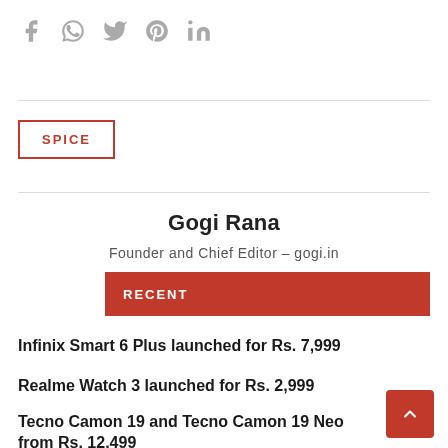[Figure (other): Social media share icons: Facebook, WhatsApp, Twitter, Pinterest, LinkedIn in gray]
SPICE
Gogi Rana
Founder and Chief Editor – gogi.in
RECENT
Infinix Smart 6 Plus launched for Rs. 7,999
Realme Watch 3 launched for Rs. 2,999
Tecno Camon 19 and Tecno Camon 19 Neo from Rs. 12,499